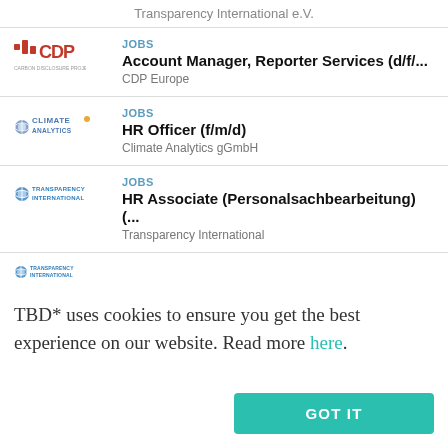Transparency International e.V.
JOBS | Account Manager, Reporter Services (d/f/... | CDP Europe
JOBS | HR Officer (f/m/d) | Climate Analytics gGmbH
JOBS | HR Associate (Personalsachbearbeitung) (... | Transparency International
[Figure (logo): Transparency International logo (small)]
TBD* uses cookies to ensure you get the best experience on our website. Read more here.
GOT IT